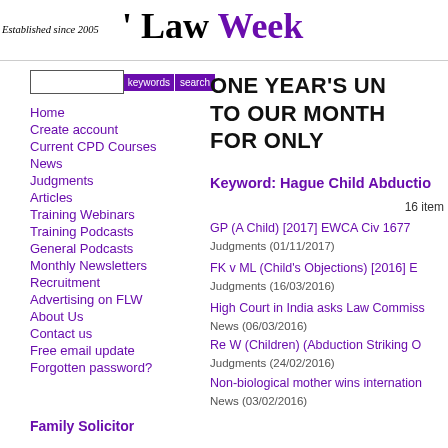' Law Week — Established since 2005
Home
Create account
Current CPD Courses
News
Judgments
Articles
Training Webinars
Training Podcasts
General Podcasts
Monthly Newsletters
Recruitment
Advertising on FLW
About Us
Contact us
Free email update
Forgotten password?
Family Solicitor
ONE YEAR'S UN TO OUR MONTH FOR ONLY
Keyword: Hague Child Abductio
16 item
GP (A Child) [2017] EWCA Civ 1677
Judgments (01/11/2017)
FK v ML (Child's Objections) [2016] E
Judgments (16/03/2016)
High Court in India asks Law Commiss
News (06/03/2016)
Re W (Children) (Abduction Striking O
Judgments (24/02/2016)
Non-biological mother wins internation
News (03/02/2016)